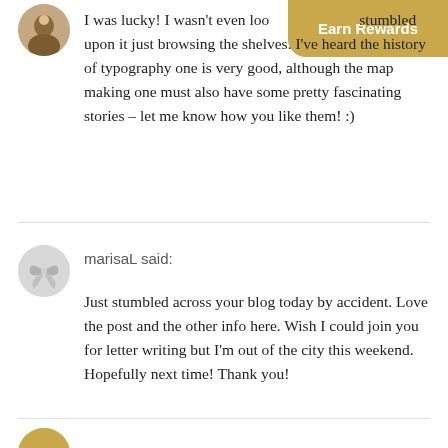[Figure (photo): Circular avatar photo of a person with a necklace, partially visible at top-left]
Earn Rewards
I was lucky! I wasn't even looking for it, stumbled upon it just browsing the shelves. I've heard the history of typography one is very good, although the map making one must also have some pretty fascinating stories – let me know how you like them! :)
marisaL said:
[Figure (illustration): Circular grey avatar icon with stylized bird or abstract shape]
Just stumbled across your blog today by accident. Love the post and the other info here. Wish I could join you for letter writing but I'm out of the city this weekend. Hopefully next time! Thank you!